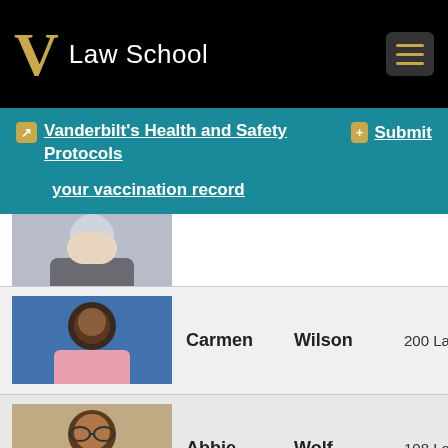Law School
Vanderbilt's Health and Safety Protocols   Submit your vaccination record
[Figure (photo): Partial photo of a person with blonde hair, cropped at top]
| Photo | First Name | Last Name | Location | Phone |
| --- | --- | --- | --- | --- |
| [photo] | Carmen | Wilson | 200 Law Building | 6... |
| [photo] | Abbie | Wolf | 108 Law Building | 6... |
| [photo] | Elizabeth | Workman | 132 Center Building | 6... |